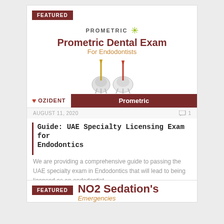[Figure (illustration): Prometric Dental Exam for Endodontists book cover showing teeth illustrations and Ozident branding]
AUGUST 11, 2020
1
Guide: UAE Specialty Licensing Exam for Endodontics
We are providing a comprehensive guide to passing the UAE specialty exam in Endodontics that will lead to being licensed as an endodontist.
[Figure (illustration): NO2 Sedation's Emergencies book cover - partially visible]